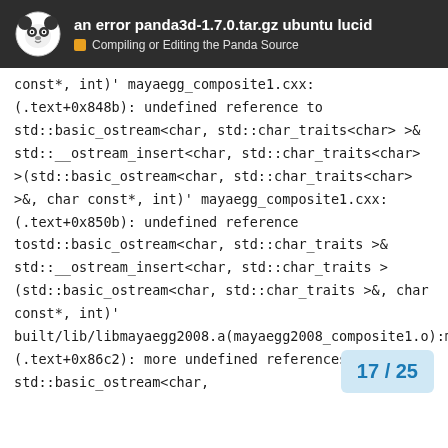an error panda3d-1.7.0.tar.gz ubuntu lucid
Compiling or Editing the Panda Source
const*, int)' mayaegg_composite1.cxx:(.text+0x848b): undefined reference to std::basic_ostream<char, std::char_traits<char> >& std::__ostream_insert<char, std::char_traits<char> >(std::basic_ostream<char, std::char_traits<char> >&, char const*, int)' mayaegg_composite1.cxx:(.text+0x850b): undefined reference tostd::basic_ostream<char, std::char_traits >& std::__ostream_insert<char, std::char_traits >(std::basic_ostream<char, std::char_traits >&, char const*, int)' built/lib/libmayaegg2008.a(mayaegg2008_composite1.o):mayaegg_composite1.cxx:(.text+0x86c2): more undefined references to std::basic_ostream<char,
17 / 25